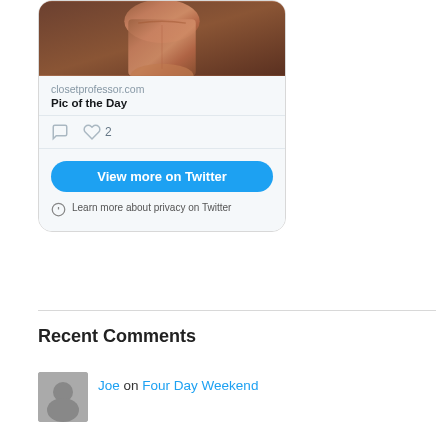[Figure (photo): Twitter embed card showing a shirtless torso photo with card metadata for closetprofessor.com, 'Pic of the Day' title, comment and like icons (2 likes), a blue 'View more on Twitter' button, and a privacy note.]
closetprofessor.com
Pic of the Day
2
View more on Twitter
Learn more about privacy on Twitter
Recent Comments
Joe on Four Day Weekend